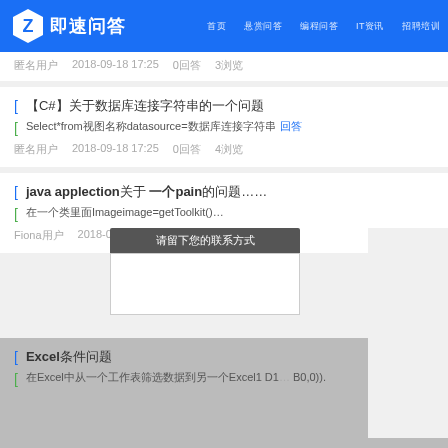即速问答 首页 悬赏问答 编程问答 IT资讯 招聘培训
匿名用户 2018-09-18 17:25 0回答 3浏览
【C#】关于数据库连接字符串的一个问题
Select*from视图名称datasource=数据库连接字符串 回答
匿名用户 2018-09-18 17:25 0回答 4浏览
java applection关于 一个pain的问题
在一个类里面Imageimage=getToolkit().get url=getCl
Fiona用户 2018-09-18 17:25
Excel条件问题
在Excel中从一个工作表筛选数据到另一个Excel1 D1 B0,0))